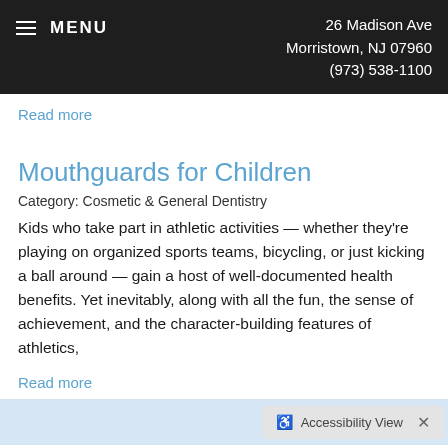MENU | 26 Madison Ave Morristown, NJ 07960 (973) 538-1100
Read more
Mouthguards for Children
Category: Cosmetic & General Dentistry
Kids who take part in athletic activities — whether they're playing on organized sports teams, bicycling, or just kicking a ball around — gain a host of well-documented health benefits. Yet inevitably, along with all the fun, the sense of achievement, and the character-building features of athletics,
Read more
Accessibility View ×